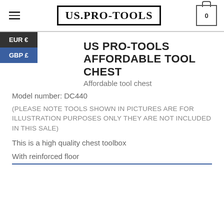US.PRO-TOOLS
US PRO-TOOLS AFFORDABLE TOOL CHEST
Affordable tool chest
Model number: DC440
(PLEASE NOTE TOOLS SHOWN IN PICTURES ARE FOR ILLUSTRATION PURPOSES ONLY THEY ARE NOT INCLUDED IN THIS SALE)
This is a high quality chest toolbox
With reinforced floor